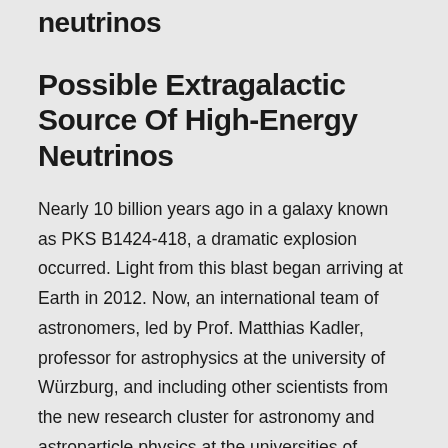neutrinos
Possible Extragalactic Source Of High-Energy Neutrinos
Nearly 10 billion years ago in a galaxy known as PKS B1424-418, a dramatic explosion occurred. Light from this blast began arriving at Earth in 2012. Now, an international team of astronomers, led by Prof. Matthias Kadler, professor for astrophysics at the university of Würzburg, and including other scientists from the new research cluster for astronomy and astroparticle physics at the universities of